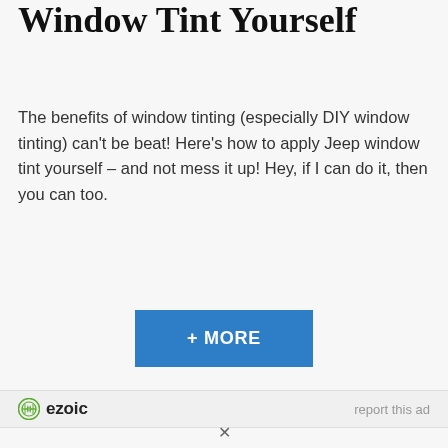Window Tint Yourself
The benefits of window tinting (especially DIY window tinting) can't be beat! Here's how to apply Jeep window tint yourself – and not mess it up! Hey, if I can do it, then you can too.
[Figure (other): Blue button with white text '+ MORE']
[Figure (logo): Ezoic logo with green circular icon and bold 'ezoic' text, with 'report this ad' link on the right]